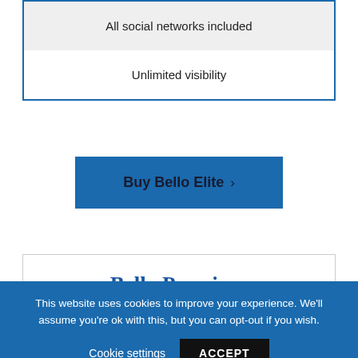All social networks included
Unlimited visibility
Buy Bello Elite >
Bello Premium
This website uses cookies to improve your experience. We'll assume you're ok with this, but you can opt-out if you wish.
Cookie settings
ACCEPT